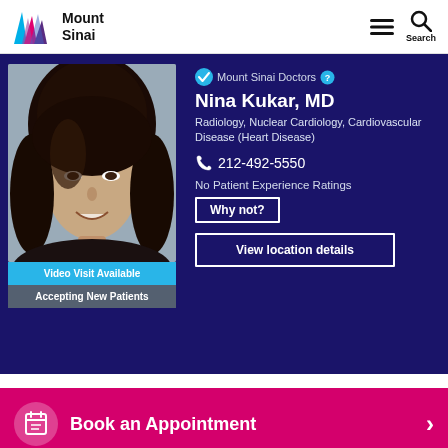Mount Sinai
[Figure (logo): Mount Sinai logo with geometric mountain mark in blue, pink, purple and Mount Sinai text]
[Figure (photo): Professional headshot of Dr. Nina Kukar, MD - woman with long dark wavy hair, smiling, wearing dark top]
Mount Sinai Doctors
Nina Kukar, MD
Radiology, Nuclear Cardiology, Cardiovascular Disease (Heart Disease)
212-492-5550
No Patient Experience Ratings
Why not?
View location details
Video Visit Available
Accepting New Patients
Book an Appointment